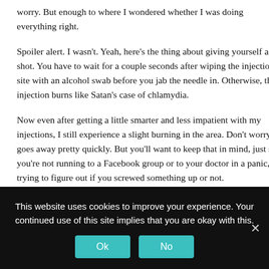worry. But enough to where I wondered whether I was doing everything right.
Spoiler alert. I wasn't. Yeah, here's the thing about giving yourself a shot. You have to wait for a couple seconds after wiping the injection site with an alcohol swab before you jab the needle in. Otherwise, the injection burns like Satan's case of chlamydia.
Now even after getting a little smarter and less impatient with my injections, I still experience a slight burning in the area. Don't worry. It goes away pretty quickly. But you'll want to keep that in mind, just so you're not running to a Facebook group or to your doctor in a panic, trying to figure out if you screwed something up or not.
You'll Hate Salt (And
This website uses cookies to improve your experience. Your continued use of this site implies that you are okay with this.